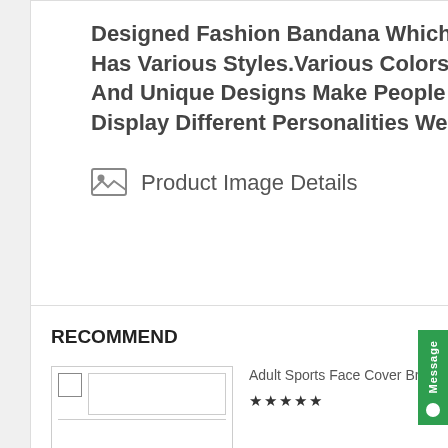Designed Fashion Bandana Which Has Various Styles.Various Colors And Unique Designs Make People Display Different Personalities Well.
Product Image Details
[Figure (other): Green Message button widget on right side with chat icon]
RECOMMEND
[Figure (other): Navigation arrows left and right for recommend carousel]
[Figure (photo): Product thumbnail image placeholder for Adult Sports Face Cover]
Adult Sports Face Cover Breathable Reusable Anti-...
★★★★★